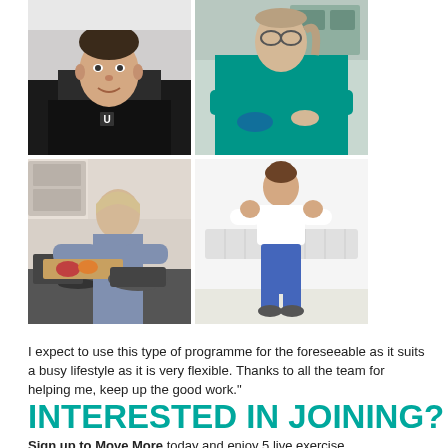[Figure (photo): A 2x2 grid of four photos: top-left shows a young man in a black t-shirt smiling; top-right shows a woman in teal/turquoise scrubs cooking; bottom-left shows a woman cooking in a kitchen; bottom-right shows a person in white top and blue trousers exercising.]
I expect to use this type of programme for the foreseeable as it suits a busy lifestyle as it is very flexible. Thanks to all the team for helping me, keep up the good work."
INTERESTED IN JOINING?
Sign up to Move More today and enjoy 5 live exercise